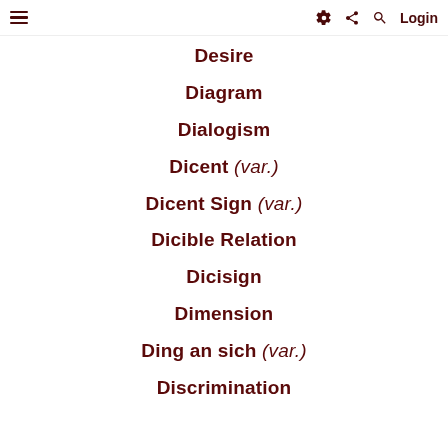≡  ⚙ < Q  Login
Desire
Diagram
Dialogism
Dicent (var.)
Dicent Sign (var.)
Dicible Relation
Dicisign
Dimension
Ding an sich (var.)
Discrimination